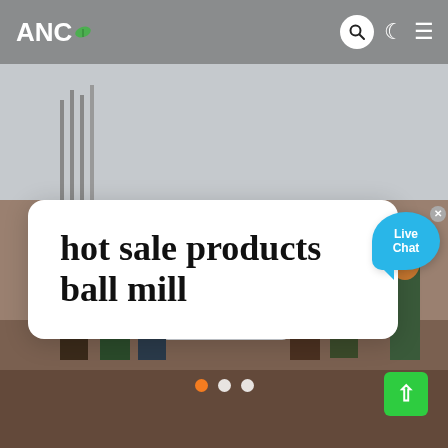ANC
hot sale products ball mill
[Figure (screenshot): Website screenshot showing ANC logo in top navigation bar with search, dark mode, and hamburger menu icons. A background photo shows workers standing around industrial equipment at a construction/mining site. A white card overlay shows the title 'hot sale products ball mill'. A live chat bubble is visible in the top right of the card. Slider navigation dots appear at the bottom (orange, white, white). A green scroll-to-top button is at the bottom right.]